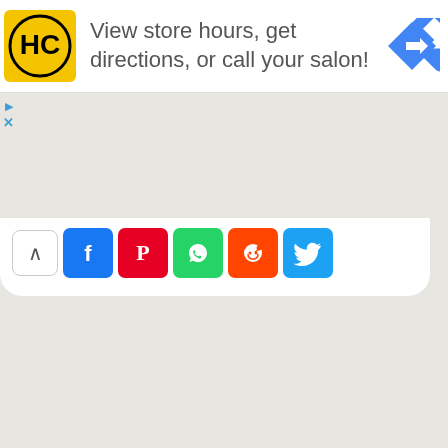[Figure (screenshot): Advertisement banner for Hair Cuttery showing HC logo, text 'View store hours, get directions, or call your salon!', and a blue navigation arrow icon]
[Figure (screenshot): Social share bar with expand arrow and social media icons: Facebook (blue), Pinterest (red), WhatsApp (green), Reddit (orange), Twitter (blue)]